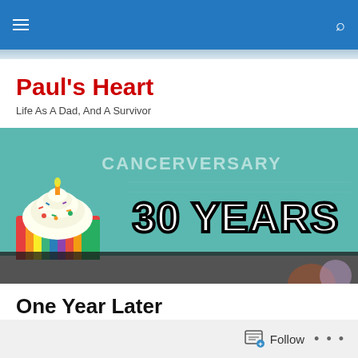Paul's Heart — navigation bar with hamburger menu and search icon
Paul's Heart
Life As A Dad, And A Survivor
[Figure (photo): Banner image showing a cupcake with colorful sprinkles on the left, text '30 YEARS' in large bold outlined font, and 'CANCERVERSARY' written in chalk on a teal chalkboard background, with a person partially visible at bottom right.]
One Year Later
[Figure (photo): Calendar or notebook page showing 'March 9, 2020' written in cursive on a pink/red notepad with spiral binding visible.]
Follow button with follow icon and three dots menu